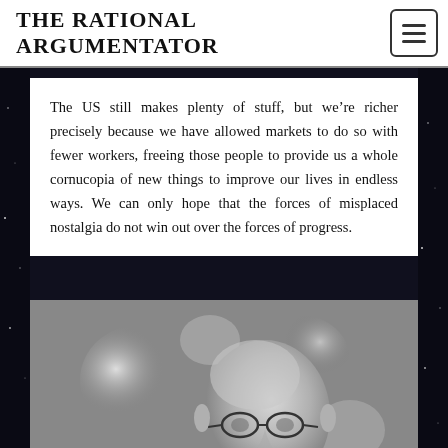THE RATIONAL ARGUMENTATOR
The US still makes plenty of stuff, but we’re richer precisely because we have allowed markets to do so with fewer workers, freeing those people to provide us a whole cornucopia of new things to improve our lives in endless ways. We can only hope that the forces of misplaced nostalgia do not win out over the forces of progress.
[Figure (photo): Black and white photograph of a bald man with glasses, shown from approximately chest up, with a blurred bokeh background of lights.]